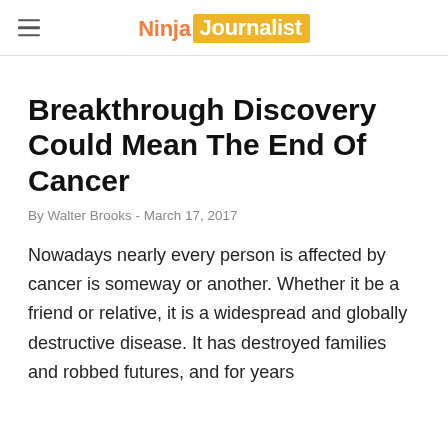Ninja Journalist
Breakthrough Discovery Could Mean The End Of Cancer
By Walter Brooks - March 17, 2017
Nowadays nearly every person is affected by cancer is someway or another. Whether it be a friend or relative, it is a widespread and globally destructive disease. It has destroyed families and robbed futures, and for years